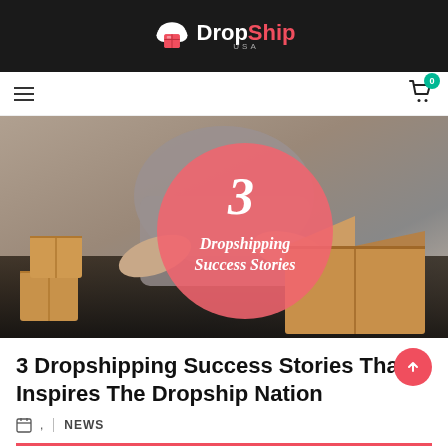DropShip USA
[Figure (photo): Man opening a cardboard shipping box with multiple boxes stacked nearby, with a pink circle overlay reading '3 Dropshipping Success Stories']
3 Dropshipping Success Stories That Inspires The Dropship Nation
NEWS